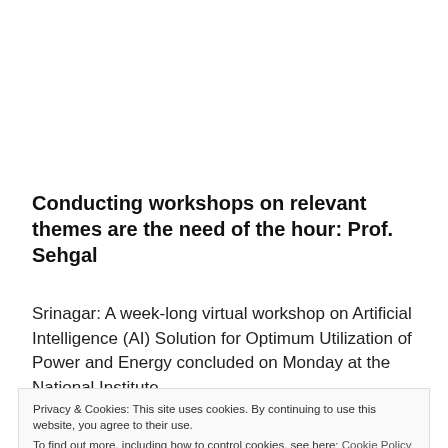Conducting workshops on relevant themes are the need of the hour: Prof. Sehgal
Srinagar: A week-long virtual workshop on Artificial Intelligence (AI) Solution for Optimum Utilization of Power and Energy concluded on Monday at the National Institute
Privacy & Cookies: This site uses cookies. By continuing to use this website, you agree to their use. To find out more, including how to control cookies, see here: Cookie Policy
and Dr. Kushal M Jagtap were the coordinators of the event